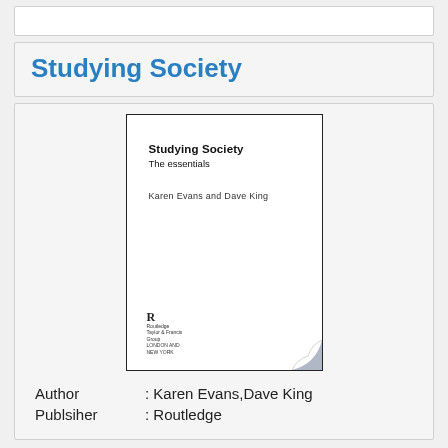Studying Society
[Figure (illustration): Book cover of 'Studying Society: The essentials' by Karen Evans and Dave King, published by Routledge. White cover with black text, showing title, subtitle, authors, and Routledge logo with a page curl at the bottom right corner.]
Author : Karen Evans,Dave King
Publsiher : Routledge